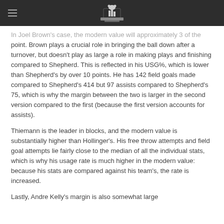[Site logo and navigation header]
In Joel Brown's case, the modern value will approximately 3 of the point. Brown plays a crucial role in bringing the ball down after a turnover, but doesn't play as large a role in making plays and finishing compared to Shepherd. This is reflected in his USG%, which is lower than Shepherd's by over 10 points. He has 142 field goals made compared to Shepherd's 414 but 97 assists compared to Shepherd's 75, which is why the margin between the two is larger in the second version compared to the first (because the first version accounts for assists).
Thiemann is the leader in blocks, and the modern value is substantially higher than Hollinger's. His free throw attempts and field goal attempts lie fairly close to the median of all the individual stats, which is why his usage rate is much higher in the modern value: because his stats are compared against his team's, the rate is increased.
Lastly, Andre Kelly's margin is also somewhat large